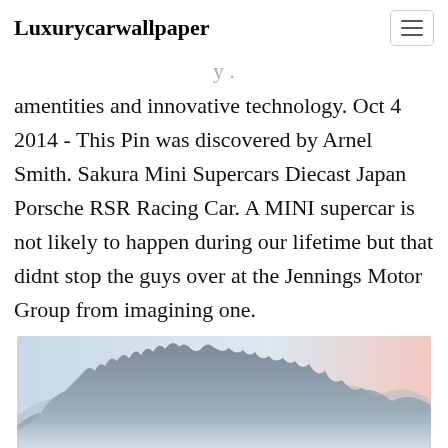Luxurycarwallpaper
amentities and innovative technology. Oct 4 2014 - This Pin was discovered by Arnel Smith. Sakura Mini Supercars Diecast Japan Porsche RSR Racing Car. A MINI supercar is not likely to happen during our lifetime but that didnt stop the guys over at the Jennings Motor Group from imagining one.
[Figure (photo): Mountain landscape photo with rocky peaks and misty sky, showing dramatic alpine scenery]